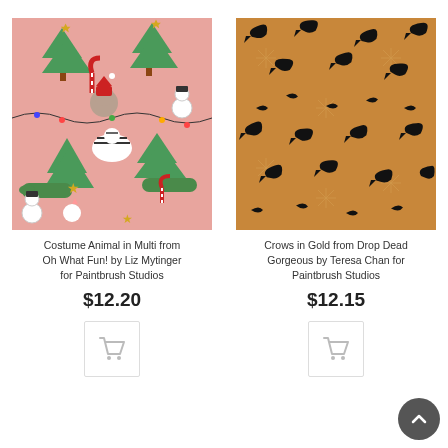[Figure (illustration): Christmas animals pattern on pink background featuring Santa bears, zebras, crocodiles, unicorns, snowmen, and Christmas trees]
Costume Animal in Multi from Oh What Fun! by Liz Mytinger for Paintbrush Studios
$12.20
[Figure (illustration): Black crow silhouettes on gold/mustard background with faint snowflake patterns]
Crows in Gold from Drop Dead Gorgeous by Teresa Chan for Paintbrush Studios
$12.15